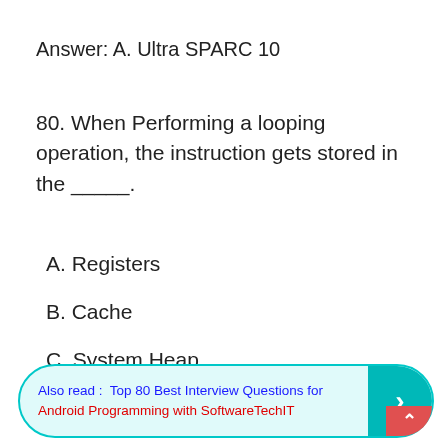Answer: A. Ultra SPARC 10
80. When Performing a looping operation, the instruction gets stored in the _____.
A. Registers
B. Cache
C. System Heap
D. System stack
Also read :  Top 80 Best Interview Questions for Android Programming with SoftwareTechIT